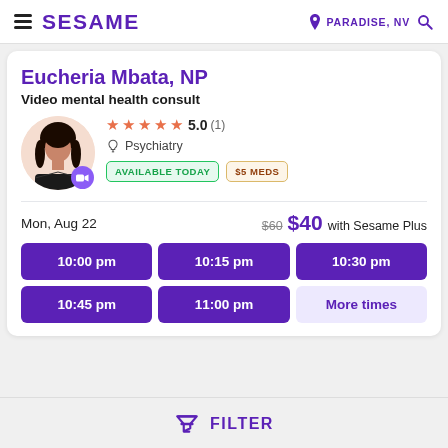SESAME | PARADISE, NV
Eucheria Mbata, NP
Video mental health consult
★★★★★ 5.0 (1) | Psychiatry | AVAILABLE TODAY | $5 MEDS
Mon, Aug 22 | $60 $40 with Sesame Plus
10:00 pm | 10:15 pm | 10:30 pm | 10:45 pm | 11:00 pm | More times
FILTER